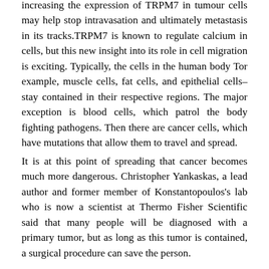increasing the expression of TRPM7 in tumour cells may help stop intravasation and ultimately metastasis in its tracks.TRPM7 is known to regulate calcium in cells, but this new insight into its role in cell migration is exciting. Typically, the cells in the human body Tor example, muscle cells, fat cells, and epithelial cells–stay contained in their respective regions. The major exception is blood cells, which patrol the body fighting pathogens. Then there are cancer cells, which have mutations that allow them to travel and spread.
It is at this point of spreading that cancer becomes much more dangerous. Christopher Yankaskas, a lead author and former member of Konstantopoulos's lab who is now a scientist at Thermo Fisher Scientific said that many people will be diagnosed with a primary tumor, but as long as this tumor is contained, a surgical procedure can save the person.